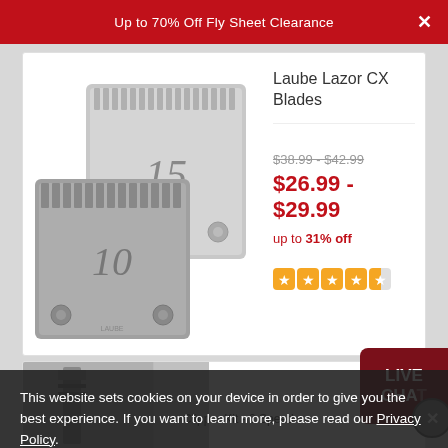Up to 70% Off Fly Sheet Clearance
[Figure (photo): Two Laube Lazor CX Series clipper blades — size 15 (top right) and size 10 (bottom left), both metal/silver finish]
Laube Lazor CX Blades
$38.99 - $42.99
$26.99 - $29.99
up to 31% off
[Figure (other): Star rating: approximately 4.5 out of 5 stars (orange rounded square stars)]
[Figure (photo): Partial product card showing a clipper kit - 2 Speed product image]
Clipper Kit - 2 Speed
[Figure (other): Live Chat button (dark red rounded rectangle) with close X circle]
This website sets cookies on your device in order to give you the best experience. If you want to learn more, please read our Privacy Policy.